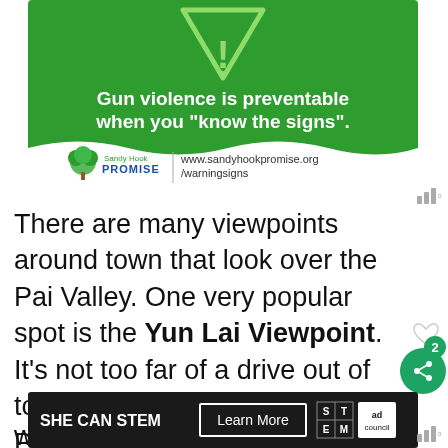[Figure (infographic): Sandy Hook Promise advertisement. Green background with warning triangle icon. Text: 'Gun violence is preventable when you "know the signs".' White wave bottom section with Sandy Hook Promise logo and URL www.sandyhookpromise.org/warningsigns]
There are many viewpoints around town that look over the Pai Valley. One very popular spot is the Yun Lai Viewpoint. It's not too far of a drive out of town and on the way to Mor Paeng Waterfall so we figured we
[Figure (infographic): SHE CAN STEM advertisement on black background with Learn More button, STEM grid logo, and Ad Council logo]